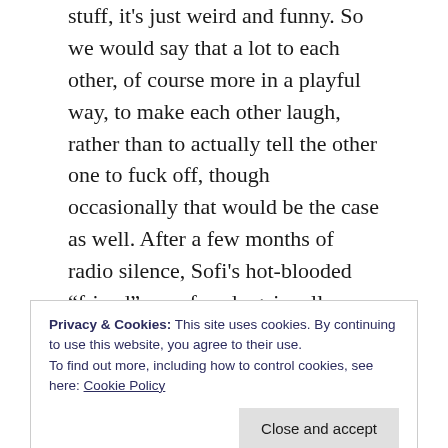stuff, it's just weird and funny. So we would say that a lot to each other, of course more in a playful way, to make each other laugh, rather than to actually tell the other one to fuck off, though occasionally that would be the case as well. After a few months of radio silence, Sofi's hot-blooded “friend” resurfaced again, all apologetic, asking her if they could be friends again. They had tons of stuff to talk about and Sofi felt like they were on the same wavelength, so after some initial resistance and, again, despite absolutely everyone was telling her to quit that, she decided to meet up with her and the cycle began all over again, with them being the best friends in the
Privacy & Cookies: This site uses cookies. By continuing to use this website, you agree to their use.
To find out more, including how to control cookies, see here: Cookie Policy
“friendship” the second time, Sofi was racking her